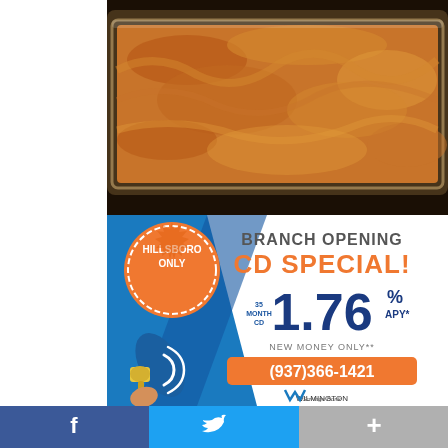[Figure (photo): Photo of a baked casserole dish with golden-brown cheesy top in a glass baking pan]
[Figure (infographic): Wilmington Savings Bank branch opening CD special advertisement. Blue background with orange badge reading HILLSBORO ONLY. Text: BRANCH OPENING CD SPECIAL! 35 MONTH CD 1.76% APY* NEW MONEY ONLY** Phone: (937)366-1421. Wilmington Savings Bank logo. Megaphone graphic.]
[Figure (infographic): Social media share bar with Facebook (blue), Twitter (light blue), and plus/share (gray) buttons]